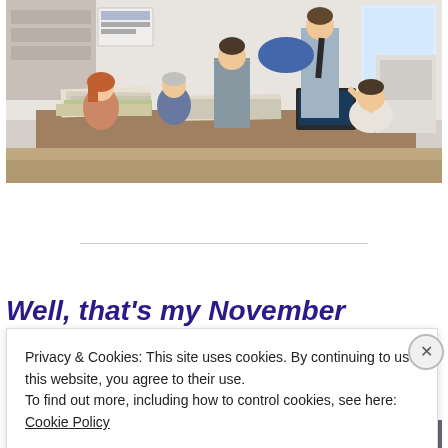[Figure (photo): Office scene with five people sitting and standing around a desk covered in papers and folders, having a meeting in a newsroom or office environment]
Well, that's my November
Privacy & Cookies: This site uses cookies. By continuing to use this website, you agree to their use.
To find out more, including how to control cookies, see here: Cookie Policy
Close and accept